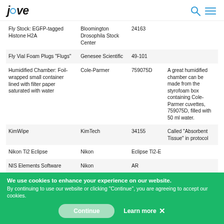JoVE
|  |  |  |  |
| --- | --- | --- | --- |
| Fly Stock: EGFP-tagged Histone H2A | Bloomington Drosophila Stock Center | 24163 |  |
| Fly Vial Foam Plugs "Flugs" | Genesee Scientific | 49-101 |  |
| Humidified Chamber: Foil-wrapped small container lined with filter paper saturated with water | Cole-Parmer | 759075D | A great humidified chamber can be made from the styrofoam box containing Cole-Parmer cuvettes, 759075D, filled with 50 ml water. |
| KimWipe | KimTech | 34155 | Called "Absorbent Tissue" in protocol |
| Nikon Ti2 Eclipse | Nikon | Eclipse Ti2-E |  |
| NIS Elements Software | Nikon | AR |  |
| Parafilm | Pechiney Plastic Packaging | PM-996 |  |
We use cookies to enhance your experience on our website. By continuing to use our website or clicking "Continue", you are agreeing to accept our cookies.
Continue   Learn more ✕